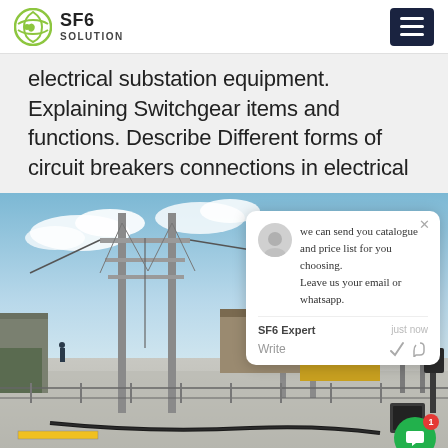SF6 SOLUTION
electrical substation equipment. Explaining Switchgear items and functions. Describe Different forms of circuit breakers connections in electrical
[Figure (photo): Outdoor electrical substation with steel transmission towers, high-voltage equipment, gravel ground, cables, and industrial equipment in the background under a cloudy blue sky. A chat popup overlay is visible on the right side of the image.]